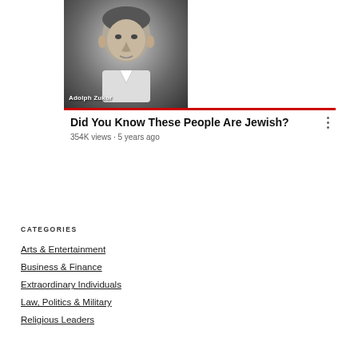[Figure (screenshot): YouTube video thumbnail showing Adolph Zukor on the left half and Paramount Pictures logo/mountain on the right half, with a 3:03 duration badge]
Did You Know These People Are Jewish?
354K views • 5 years ago
CATEGORIES
Arts & Entertainment
Business & Finance
Extraordinary Individuals
Law, Politics & Military
Religious Leaders